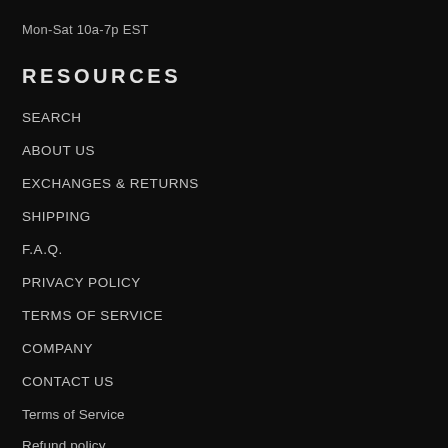Mon-Sat 10a-7p EST
RESOURCES
SEARCH
ABOUT US
EXCHANGES & RETURNS
SHIPPING
F.A.Q.
PRIVACY POLICY
TERMS OF SERVICE
COMPANY
CONTACT US
Terms of Service
Refund policy